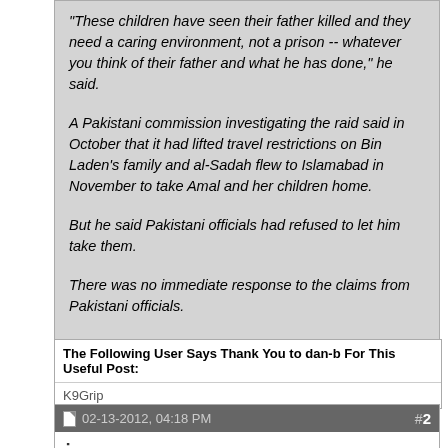"These children have seen their father killed and they need a caring environment, not a prison -- whatever you think of their father and what he has done," he said.

A Pakistani commission investigating the raid said in October that it had lifted travel restrictions on Bin Laden's family and al-Sadah flew to Islamabad in November to take Amal and her children home.

But he said Pakistani officials had refused to let him take them.

There was no immediate response to the claims from Pakistani officials.
The Following User Says Thank You to dan-b For This Useful Post:
K9Grip
02-13-2012, 04:18 PM  #2
ices
So Fucking Banned
Male
Join Date: Mar 2010